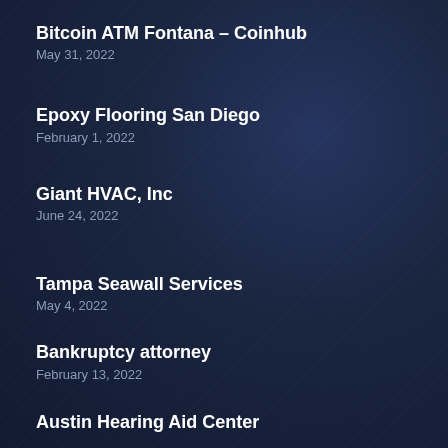Bitcoin ATM Fontana – Coinhub
May 31, 2022
Epoxy Flooring San Diego
February 1, 2022
Giant HVAC, Inc
June 24, 2022
Tampa Seawall Services
May 4, 2022
Bankruptcy attorney
February 13, 2022
Austin Hearing Aid Center